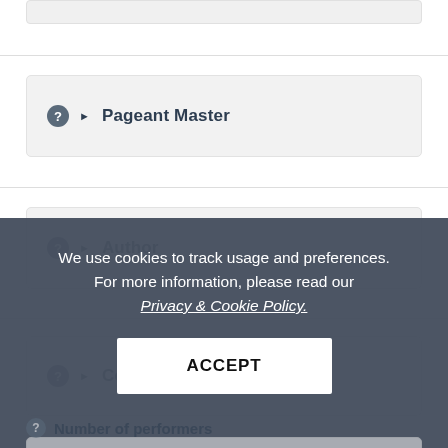Pageant Master
Author
Composer
Historical Figure
Number of performers
We use cookies to track usage and preferences. For more information, please read our Privacy & Cookie Policy.
ACCEPT